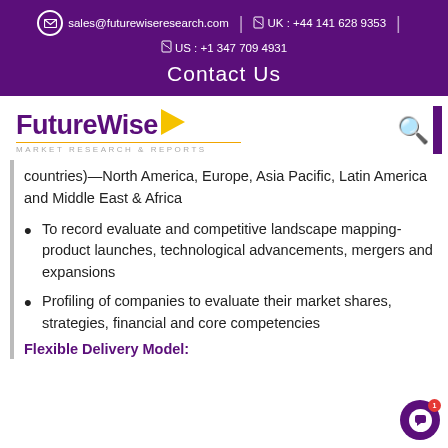sales@futurewiseresearch.com  |  UK : +44 141 628 9353  |  US : +1 347 709 4931
Contact Us
[Figure (logo): FutureWise Market Research & Reports logo with yellow arrow graphic and search icon]
countries)—North America, Europe, Asia Pacific, Latin America and Middle East & Africa
To record evaluate and competitive landscape mapping- product launches, technological advancements, mergers and expansions
Profiling of companies to evaluate their market shares, strategies, financial and core competencies
Flexible Delivery Model: